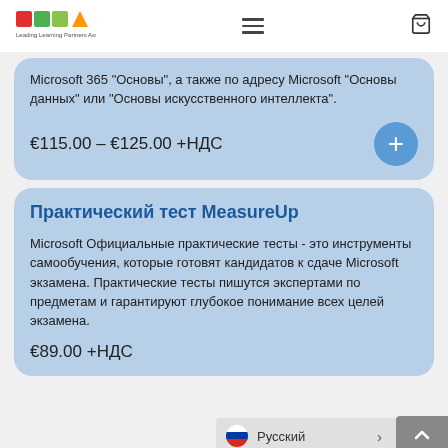Leading Learning Partners Association
Microsoft 365 "Основы", а также по адресу Microsoft "Основы данных" или "Основы искусственного интеллекта".
€115.00 – €125.00 +НДС
Практический тест MeasureUp
Microsoft Официальные практические тесты - это инструменты самообучения, которые готовят кандидатов к сдаче Microsoft экзамена. Практические тесты пишутся экспертами по предметам и гарантируют глубокое понимание всех целей экзамена.
€89.00 +НДС